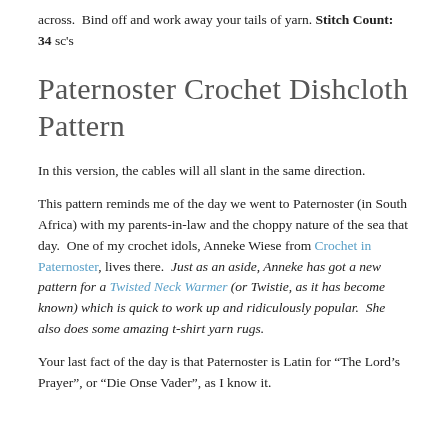across.  Bind off and work away your tails of yarn. Stitch Count:  34 sc's
Paternoster Crochet Dishcloth Pattern
In this version, the cables will all slant in the same direction.
This pattern reminds me of the day we went to Paternoster (in South Africa) with my parents-in-law and the choppy nature of the sea that day.  One of my crochet idols, Anneke Wiese from Crochet in Paternoster, lives there.  Just as an aside, Anneke has got a new pattern for a Twisted Neck Warmer (or Twistie, as it has become known) which is quick to work up and ridiculously popular.  She also does some amazing t-shirt yarn rugs.
Your last fact of the day is that Paternoster is Latin for “The Lord’s Prayer”, or “Die Onse Vader”, as I know it.